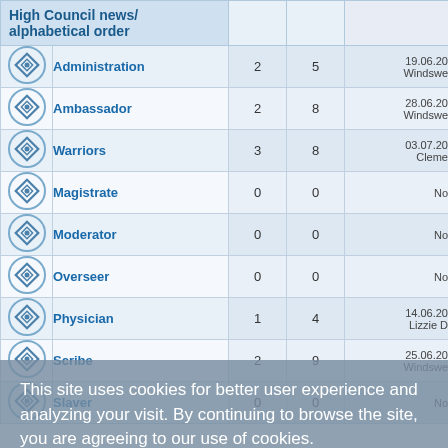| High Council news/ alphabetical order |  |  |  |  |
| --- | --- | --- | --- | --- |
| [icon] | Administration | 2 | 5 | 19.06.20 Windswe |
| [icon] | Ambassador | 2 | 8 | 28.06.20 Windswe |
| [icon] | Warriors | 3 | 8 | 03.07.20 Cleme |
| [icon] | Magistrate | 0 | 0 | No |
| [icon] | Moderator | 0 | 0 | No |
| [icon] | Overseer | 0 | 0 | No |
| [icon] | Physician | 1 | 4 | 14.06.20 Lizzie D |
| [icon] | Scribe | 2 | 9 | 25.06.20 Windswe |
| [icon] | Slaver | 0 | 0 | No |
This site uses cookies for better user experience and analyzing your visit. By continuing to browse the site, you are agreeing to our use of cookies. Find out more: Privacy Policy